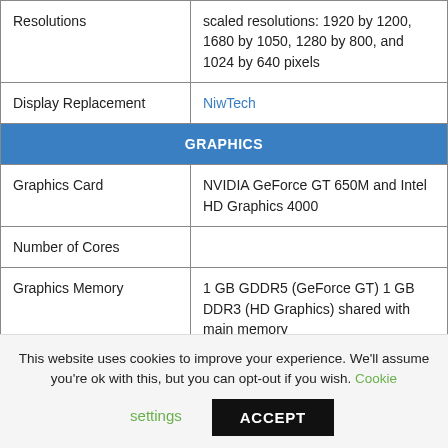|  |  |
| --- | --- |
| Resolutions | scaled resolutions: 1920 by 1200, 1680 by 1050, 1280 by 800, and 1024 by 640 pixels |
| Display Replacement | NiwTech |
| GRAPHICS |  |
| Graphics Card | NVIDIA GeForce GT 650M and Intel HD Graphics 4000 |
| Number of Cores |  |
| Graphics Memory | 1 GB GDDR5 (GeForce GT) 1 GB DDR3 (HD Graphics) shared with main memory |
| Display Connection | 1 - HDMI port or Thunderbolt digital video output |
|  | Supports an HDMI-compatible device, including 4K, while |
This website uses cookies to improve your experience. We'll assume you're ok with this, but you can opt-out if you wish. Cookie settings ACCEPT